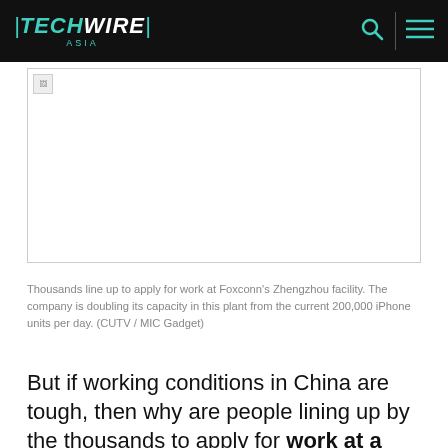|TECHWIRE| ASIA
[Figure (photo): Placeholder image showing broken image icon — Thousands line up to apply for work at Foxconn's Zhengzhou facility]
Thousands line up to apply for work at Foxconn's Zhengzhou facility. The company is doubling its capacity in this plant from the current 200,000 iPhone units per day. (CUTV / MIC Gadget)
But if working conditions in China are tough, then why are people lining up by the thousands to apply for work at a Foxconn facility in Zhengzhou? MIC